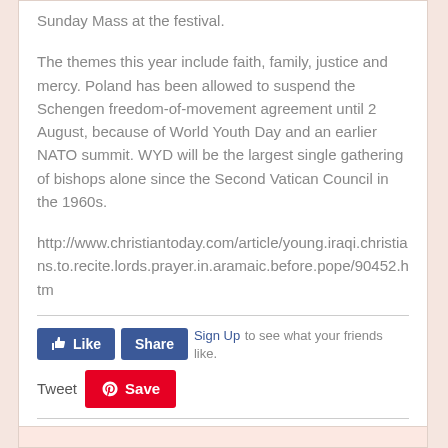Sunday Mass at the festival.
The themes this year include faith, family, justice and mercy. Poland has been allowed to suspend the Schengen freedom-of-movement agreement until 2 August, because of World Youth Day and an earlier NATO summit. WYD will be the largest single gathering of bishops alone since the Second Vatican Council in the 1960s.
http://www.christiantoday.com/article/young.iraqi.christians.to.recite.lords.prayer.in.aramaic.before.pope/90452.htm
[Figure (other): Social media buttons: Facebook Like, Share, Sign Up prompt, Tweet, and Pinterest Save button]